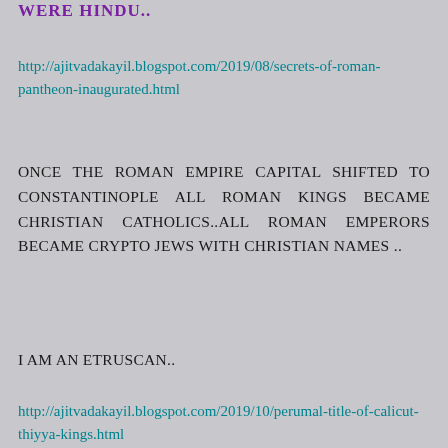WERE HINDU..
http://ajitvadakayil.blogspot.com/2019/08/secrets-of-roman-pantheon-inaugurated.html
ONCE THE ROMAN EMPIRE CAPITAL SHIFTED TO CONSTANTINOPLE ALL ROMAN KINGS BECAME CHRISTIAN CATHOLICS..ALL ROMAN EMPERORS BECAME CRYPTO JEWS WITH CHRISTIAN NAMES ..
I AM AN ETRUSCAN..
http://ajitvadakayil.blogspot.com/2019/10/perumal-title-of-calicut-thiyya-kings.html